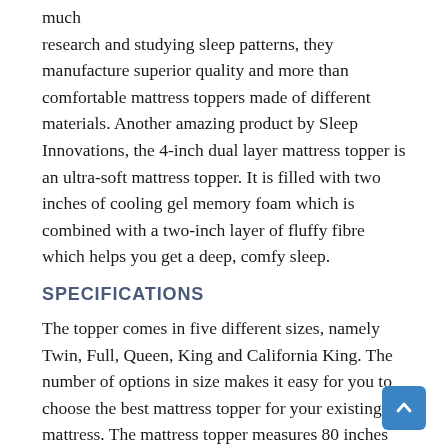much research and studying sleep patterns, they manufacture superior quality and more than comfortable mattress toppers made of different materials. Another amazing product by Sleep Innovations, the 4-inch dual layer mattress topper is an ultra-soft mattress topper. It is filled with two inches of cooling gel memory foam which is combined with a two-inch layer of fluffy fibre which helps you get a deep, comfy sleep.
SPECIFICATIONS
The topper comes in five different sizes, namely Twin, Full, Queen, King and California King. The number of options in size makes it easy for you to choose the best mattress topper for your existing mattress. The mattress topper measures 80 inches in length, 60 inches in width and 4 inches height and weighs just 23 pounds. The dual layer mattress topper is made with the most adaptable and innovative foam bedding available in the market. Added to